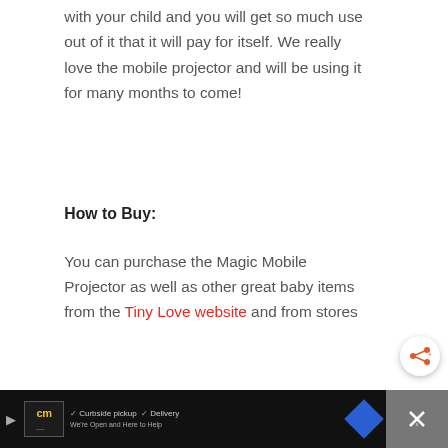with your child and you will get so much use out of it that it will pay for itself. We really love the mobile projector and will be using it for many months to come!
How to Buy:
You can purchase the Magic Mobile Projector as well as other great baby items from the Tiny Love website and from stores
[Figure (screenshot): Advertisement bar at bottom of page showing a store listing with CM logo, curbside pickup and delivery options, navigation arrow icon, and an X close button]